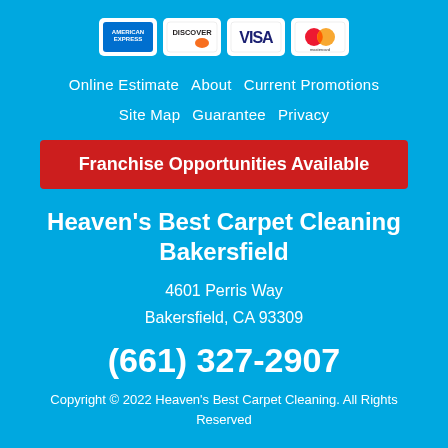[Figure (logo): Payment method icons: American Express, Discover, Visa, Mastercard]
Online Estimate   About   Current Promotions
Site Map   Guarantee   Privacy
Franchise Opportunities Available
Heaven's Best Carpet Cleaning Bakersfield
4601 Perris Way
Bakersfield, CA 93309
(661) 327-2907
Copyright © 2022 Heaven's Best Carpet Cleaning. All Rights Reserved